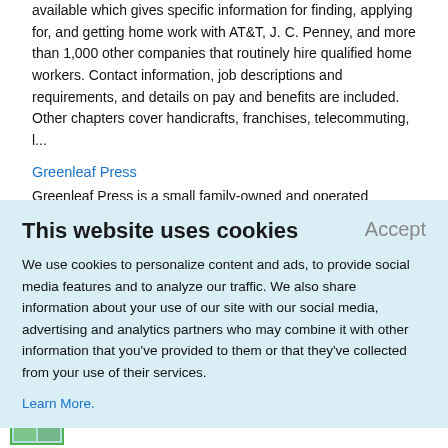available which gives specific information for finding, applying for, and getting home work with AT&T, J. C. Penney, and more than 1,000 other companies that routinely hire qualified home workers. Contact information, job descriptions and requirements, and details on pay and benefits are included. Other chapters cover handicrafts, franchises, telecommuting, l...
Greenleaf Press
Greenleaf Press is a small family-owned and operated publisher and supplier of quality books for children. They are
This website uses cookies
Accept
We use cookies to personalize content and ads, to provide social media features and to analyze our traffic. We also share information about your use of our site with our social media, advertising and analytics partners who may combine it with other information that you've provided to them or that they've collected from your use of their services.
Learn More.
challenging. This book lays out a discussion of